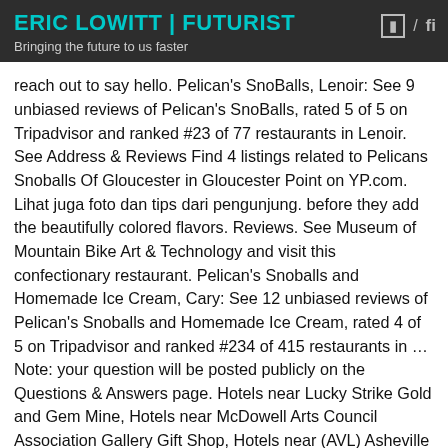ERIC LOWITT | FUTURIST
Bringing the future to us faster
reach out to say hello. Pelican's SnoBalls, Lenoir: See 9 unbiased reviews of Pelican's SnoBalls, rated 5 of 5 on Tripadvisor and ranked #23 of 77 restaurants in Lenoir. See Address & Reviews Find 4 listings related to Pelicans Snoballs Of Gloucester in Gloucester Point on YP.com. Lihat juga foto dan tips dari pengunjung. before they add the beautifully colored flavors. Reviews. See Museum of Mountain Bike Art & Technology and visit this confectionary restaurant. Pelican's Snoballs and Homemade Ice Cream, Cary: See 12 unbiased reviews of Pelican's Snoballs and Homemade Ice Cream, rated 4 of 5 on Tripadvisor and ranked #234 of 415 restaurants in … Note: your question will be posted publicly on the Questions & Answers page. Hotels near Lucky Strike Gold and Gem Mine, Hotels near McDowell Arts Council Association Gallery Gift Shop, Hotels near (AVL) Asheville Regional Airport, Mexican Restaurants for Large Groups in on. On the street of Crossroads Plaza and street number is 5 Delivery & Pickup Options - 12 reviews of Pelican's Snoballs "This is